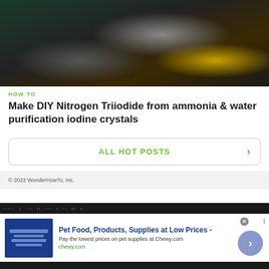[Figure (photo): Dark indoor photo showing a cluttered workspace/lab area with equipment, hoses, buckets and supplies on a wooden floor]
HOW TO
Make DIY Nitrogen Triiodide from ammonia & water purification iodine crystals
ALL HOT POSTS
© 2022 WonderHowTo, Inc.
[Figure (infographic): Advertisement banner: Pet Food, Products, Supplies at Low Prices - Pay the lowest prices on pet supplies at Chewy.com, chewy.com]